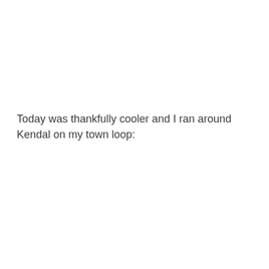Today was thankfully cooler and I ran around Kendal on my town loop: